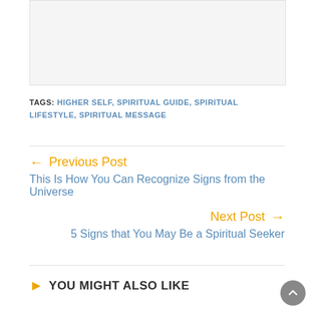[Figure (other): White/light gray placeholder image area at top of page]
TAGS: HIGHER SELF, SPIRITUAL GUIDE, SPIRITUAL LIFESTYLE, SPIRITUAL MESSAGE
← Previous Post
This Is How You Can Recognize Signs from the Universe
Next Post →
5 Signs that You May Be a Spiritual Seeker
YOU MIGHT ALSO LIKE